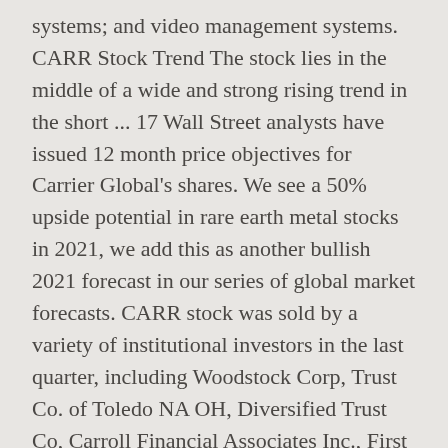systems; and video management systems. CARR Stock Trend The stock lies in the middle of a wide and strong rising trend in the short ... 17 Wall Street analysts have issued 12 month price objectives for Carrier Global's shares. We see a 50% upside potential in rare earth metal stocks in 2021, we add this as another bullish 2021 forecast in our series of global market forecasts. CARR stock was sold by a variety of institutional investors in the last quarter, including Woodstock Corp, Trust Co. of Toledo NA OH, Diversified Trust Co, Carroll Financial Associates Inc., First Financial Bank Trust Division, and Webster Bank N. A.. View insider buying and selling activity for Carrier Global or view top insider-selling stocks. View real-time